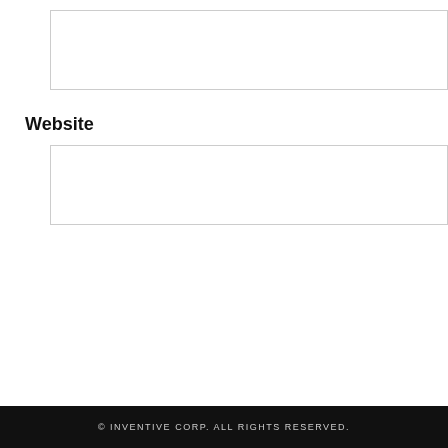[Figure (other): Empty input text box (form field)]
Website
[Figure (other): Empty input text box (form field) for website]
POST COMMENT
© INVENTIVE CORP. ALL RIGHTS RESERVED.